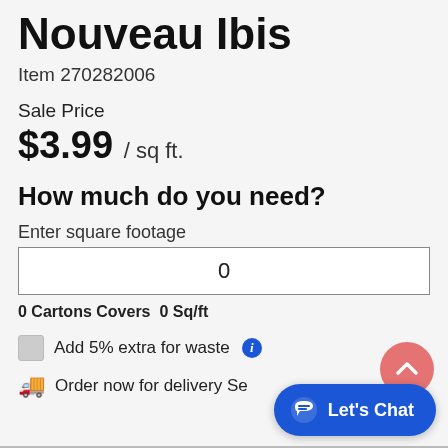Nouveau Ibis
Item 270282006
Sale Price
$3.99 / sq ft.
How much do you need?
Enter square footage
0
0 Cartons Covers  0 Sq/ft
Add 5% extra for waste
Order now for delivery Se